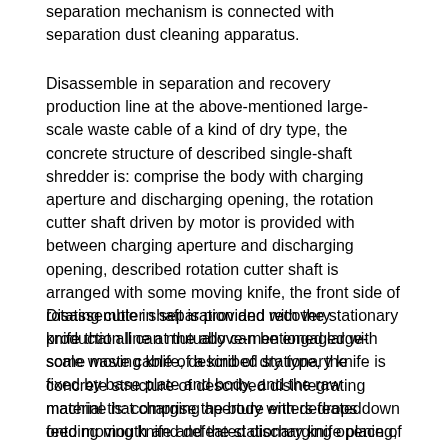separation mechanism is connected with separation dust cleaning apparatus.
Disassemble in separation and recovery production line at the above-mentioned large-scale waste cable of a kind of dry type, the concrete structure of described single-shaft shredder is: comprise the body with charging aperture and discharging opening, the rotation cutter shaft driven by motor is provided with between charging aperture and discharging opening, described rotation cutter shaft is arranged with some moving knife, the front side of rotating cutter shaft is provided with the stationary knife that all can mutually can be engaged with some moving knife, described stationary knife is fixed by base plate and body, and the raw material that charging aperture enters drops down onto moving knife and the stationary knife place of occlusion and then rotated by moving knife and torn up.
Disassemble in separation and recovery production line at the above-mentioned large-scale waste cable of a kind of dry type, the concrete structure of described disintegrating machine is: comprise the body with defeated feeding mouth and defeated discharging opening, the swivel knife shaft driven by motor is provided with between defeated